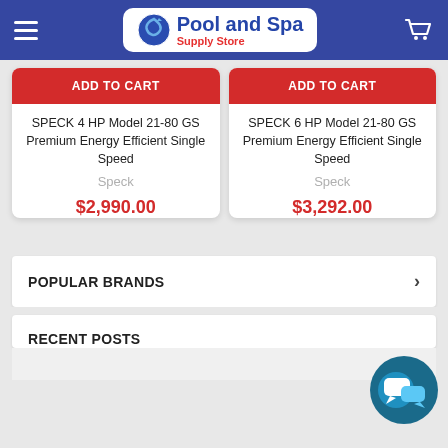Pool and Spa Supply Store
ADD TO CART
SPECK 4 HP Model 21-80 GS Premium Energy Efficient Single Speed
Speck
$2,990.00
ADD TO CART
SPECK 6 HP Model 21-80 GS Premium Energy Efficient Single Speed
Speck
$3,292.00
POPULAR BRANDS
RECENT POSTS